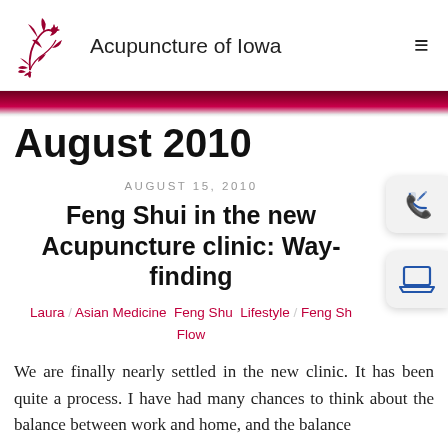Acupuncture of Iowa
August 2010
AUGUST 15, 2010
Feng Shui in the new Acupuncture clinic: Way-finding
Laura / Asian Medicine Feng Shu Lifestyle / Feng S… / Flow
We are finally nearly settled in the new clinic. It has been quite a process. I have had many chances to think about the balance between work and home, and the balance